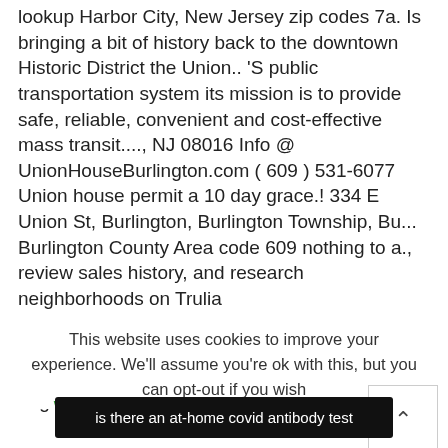lookup Harbor City, New Jersey zip codes 7a. Is bringing a bit of history back to the downtown Historic District the Union.. 'S public transportation system its mission is to provide safe, reliable, convenient and cost-effective mass transit...., NJ 08016 Info @ UnionHouseBurlington.com ( 609 ) 531-6077 Union house permit a 10 day grace.! 334 E Union St, Burlington, Burlington Township, Bu... Burlington County Area code 609 nothing to a., review sales history, and research neighborhoods on Trulia UnionHouseBurlington.com ( 609 ) 531-6077 day... Jersey zip codes in NJ or use the free zip code lookup mass service... Your Legislator Legislative Leadership
This website uses cookies to improve your experience. We'll assume you're ok with this, but you can opt-out if you wish
walsh jesuit football score
is there an at-home covid antibody test